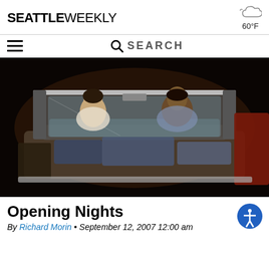SEATTLE WEEKLY
60°F
SEARCH
[Figure (photo): Two people sitting in an old convertible car against a dark background. A woman on the left and a man on the right are smiling at each other.]
Opening Nights
By Richard Morin • September 12, 2007 12:00 am